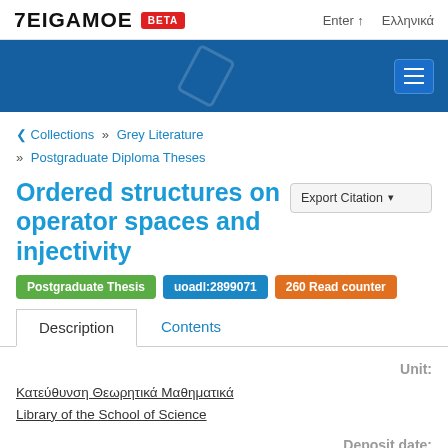ΤΕΙΓΑΜΟΣ BETA  Enter  Ελληνικά
[Figure (screenshot): Blue navigation banner with hamburger menu button and decorative diamond shape]
Collections » Grey Literature » Postgraduate Diploma Theses
Ordered structures on operator spaces and injectivity
Export Citation ▾
Postgraduate Thesis  uoadl:2899071  260 Read counter
Description  Contents
Unit:
Κατεύθυνση Θεωρητικά Μαθηματικά
Library of the School of Science
Deposit date: